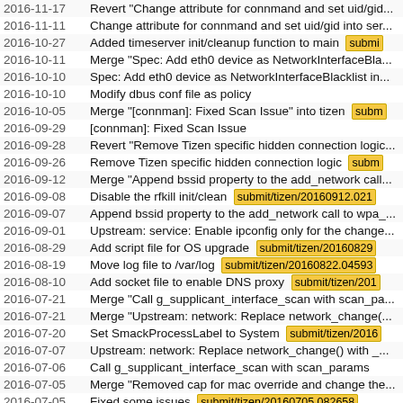| Date | Commit Message |
| --- | --- |
| 2016-11-17 | Revert "Change attribute for connmand and set uid/gid... |
| 2016-11-11 | Change attribute for connmand and set uid/gid into ser... |
| 2016-10-27 | Added timeserver init/cleanup function to main  [submit] |
| 2016-10-11 | Merge "Spec: Add eth0 device as NetworkInterfaceBla... |
| 2016-10-10 | Spec: Add eth0 device as NetworkInterfaceBlacklist in... |
| 2016-10-10 | Modify dbus conf file as policy |
| 2016-10-05 | Merge "[connman]: Fixed Scan Issue" into tizen  [subm] |
| 2016-09-29 | [connman]: Fixed Scan Issue |
| 2016-09-28 | Revert "Remove Tizen specific hidden connection logic... |
| 2016-09-26 | Remove Tizen specific hidden connection logic  [subm] |
| 2016-09-12 | Merge "Append bssid property to the add_network call... |
| 2016-09-08 | Disable the rfkill init/clean  submit/tizen/20160912.021 |
| 2016-09-07 | Append bssid property to the add_network call to wpa_... |
| 2016-09-01 | Upstream: service: Enable ipconfig only for the change... |
| 2016-08-29 | Add script file for OS upgrade  submit/tizen/20160829... |
| 2016-08-19 | Move log file to /var/log  submit/tizen/20160822.04593... |
| 2016-08-10 | Add socket file to enable DNS proxy  submit/tizen/201... |
| 2016-07-21 | Merge "Call g_supplicant_interface_scan with scan_pa... |
| 2016-07-21 | Merge "Upstream: network: Replace network_change(... |
| 2016-07-20 | Set SmackProcessLabel to System  submit/tizen/2016... |
| 2016-07-07 | Upstream: network: Replace network_change() with _... |
| 2016-07-06 | Call g_supplicant_interface_scan with scan_params |
| 2016-07-05 | Merge "Removed cap for mac override and change the... |
| 2016-07-05 | Fixed some issues  submit/tizen/20160705.082658 |
| 2016-07-04 | Removed cap for mac override and change the label fo... |
| 2016-07-01 | Revert "Removed cap for mac override and change the... |